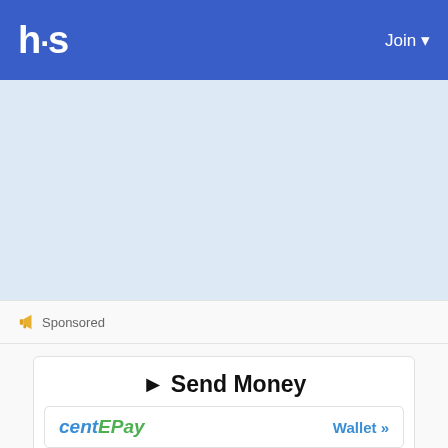h·s  Join ▼
[Figure (other): Light blue background banner area]
🔈 Sponsored
[Figure (other): Sponsored ad card: ► Send Money with centEPay brand and Wallet » link]